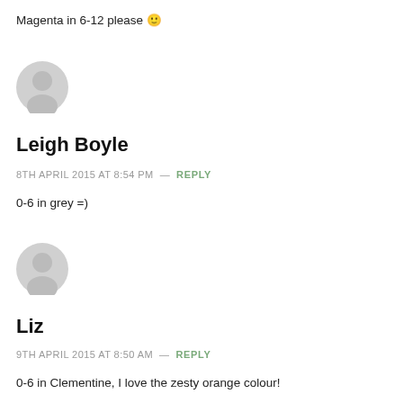Magenta in 6-12 please 🙂
[Figure (illustration): Grey default user avatar icon (person silhouette in circle)]
Leigh Boyle
8TH APRIL 2015 AT 8:54 PM  —  REPLY
0-6 in grey =)
[Figure (illustration): Grey default user avatar icon (person silhouette in circle)]
Liz
9TH APRIL 2015 AT 8:50 AM  —  REPLY
0-6 in Clementine, I love the zesty orange colour!